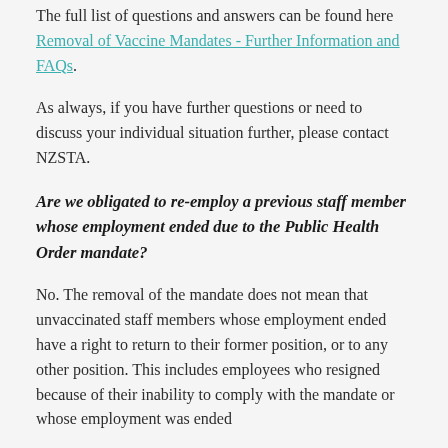The full list of questions and answers can be found here Removal of Vaccine Mandates - Further Information and FAQs.
As always, if you have further questions or need to discuss your individual situation further, please contact NZSTA.
Are we obligated to re-employ a previous staff member whose employment ended due to the Public Health Order mandate?
No. The removal of the mandate does not mean that unvaccinated staff members whose employment ended have a right to return to their former position, or to any other position. This includes employees who resigned because of their inability to comply with the mandate or whose employment was ended